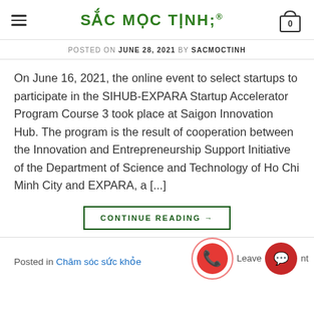SẮC MỘC TINH
POSTED ON JUNE 28, 2021 BY SACMOCTINH
On June 16, 2021, the online event to select startups to participate in the SIHUB-EXPARA Startup Accelerator Program Course 3 took place at Saigon Innovation Hub. The program is the result of cooperation between the Innovation and Entrepreneurship Support Initiative of the Department of Science and Technology of Ho Chi Minh City and EXPARA, a [...]
CONTINUE READING →
Posted in Chăm sóc sức khỏe